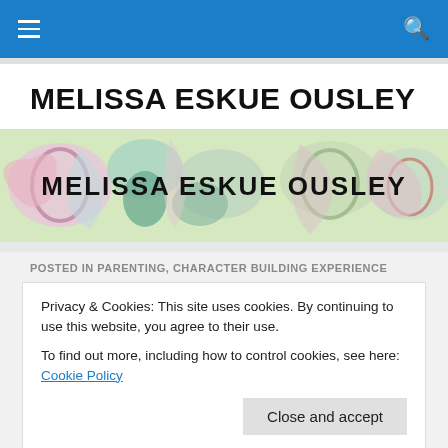Navigation bar with hamburger menu and search icon
MELISSA ESKUE OUSLEY
[Figure (illustration): Banner image with abstract colorful painted shapes (pinks, greens, teals) and the text 'MELISSA ESKUE OUSLEY' overlaid in bold black letters]
POSTED IN PARENTING, CHARACTER BUILDING EXPERIENCE
Privacy & Cookies: This site uses cookies. By continuing to use this website, you agree to their use.
To find out more, including how to control cookies, see here: Cookie Policy
Close and accept
[Figure (photo): Dark blue-toned image strip at bottom, partially visible, with left and right navigation arrows]